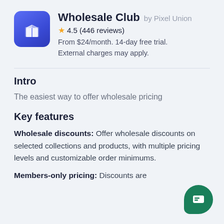[Figure (logo): Wholesale Club app icon: blue rounded square with white 3D box/cube shape]
Wholesale Club by Pixel Union
4.5 (446 reviews)
From $24/month. 14-day free trial. External charges may apply.
Intro
The easiest way to offer wholesale pricing
Key features
Wholesale discounts: Offer wholesale discounts on selected collections and products, with multiple pricing levels and customizable order minimums.
Members-only pricing: Discounts are